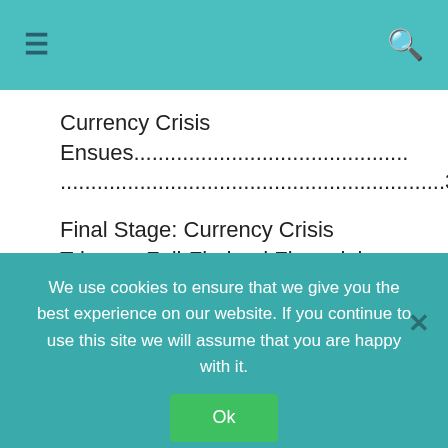≡  [search icon]
Currency Crisis Ensues...................................................................357
Final Stage: Currency Crisis Triggers Full-Fledged Financial Crisis...................................357
Recovery
We use cookies to ensure that we give you the best experience on our website. If you continue to use this site we will assume that you are happy with it.
Ok